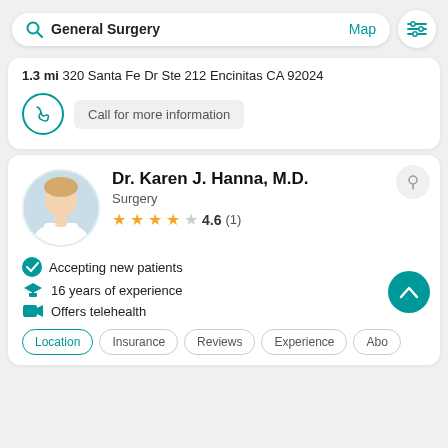General Surgery  Map
1.3 mi 320 Santa Fe Dr Ste 212 Encinitas CA 92024
Call for more information
Dr. Karen J. Hanna, M.D.
Surgery
4.6 (1)
Accepting new patients
16 years of experience
Offers telehealth
Location  Insurance  Reviews  Experience  Abo